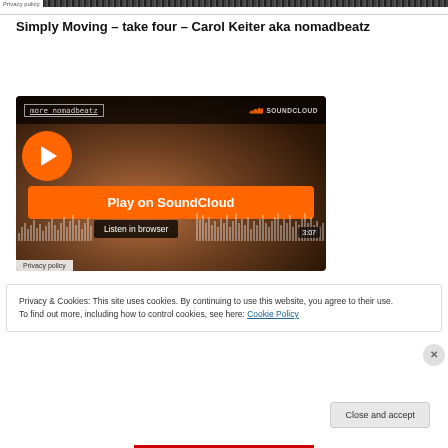Privacy policy [image strip]
Simply Moving – take four – Carol Keiter aka nomadbeatz
[Figure (screenshot): SoundCloud embedded audio player showing 'more nomadbeatz' link, SoundCloud logo, orange 'Play on SoundCloud' button, audio waveform, 'Listen in browser' button, duration 3:07, and 'Privacy policy' label. Background shows a blurred dark brownish scene.]
Privacy & Cookies: This site uses cookies. By continuing to use this website, you agree to their use.
To find out more, including how to control cookies, see here: Cookie Policy
Close and accept